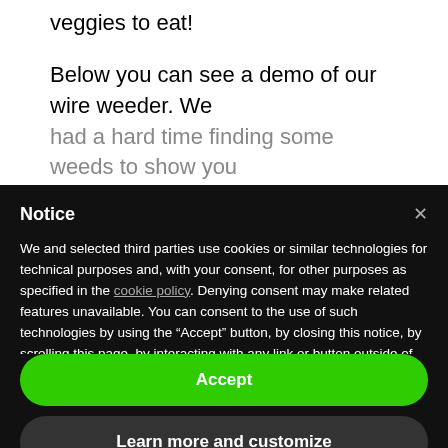veggies to eat!
Below you can see a demo of our wire weeder. We had a hard time finding some weeds to show you
Notice
We and selected third parties use cookies or similar technologies for technical purposes and, with your consent, for other purposes as specified in the cookie policy. Denying consent may make related features unavailable. You can consent to the use of such technologies by using the “Accept” button, by closing this notice, by scrolling this page, by interacting with any link or button outside of this notice or by continuing to browse otherwise.
Accept
Learn more and customize